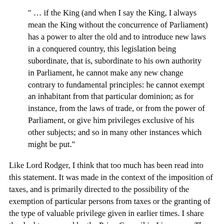" … if the King (and when I say the King, I always mean the King without the concurrence of Parliament) has a power to alter the old and to introduce new laws in a conquered country, this legislation being subordinate, that is, subordinate to his own authority in Parliament, he cannot make any new change contrary to fundamental principles: he cannot exempt an inhabitant from that particular dominion; as for instance, from the laws of trade, or from the power of Parliament, or give him privileges exclusive of his other subjects; and so in many other instances which might be put."
Like Lord Rodger, I think that too much has been read into this statement. It was made in the context of the imposition of taxes, and is primarily directed to the possibility of the exemption of particular persons from taxes or the granting of the type of valuable privilege given in earlier times. I share the doubt expressed by the Privy Council in Liyanage v The Queen [1967] AC 259, 285, whether Lord Mansfield